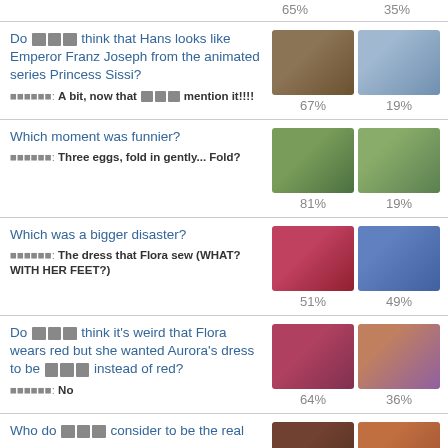65%    35%
Do [you] think that Hans looks like Emperor Franz Joseph from the animated series Princess Sissi?
[Answer]: A bit, now that [you] mention it!!!!
67%    19%
Which moment was funnier?
[Answer]: Three eggs, fold in gently... Fold?
81%    19%
Which was a bigger disaster?
[Answer]: The dress that Flora sew (WHAT? WITH HER FEET?)
51%    49%
Do [you] think it's weird that Flora wears red but she wanted Aurora's dress to be [pink] instead of red?
[Answer]: No
64%    36%
Who do [you] consider to be the real